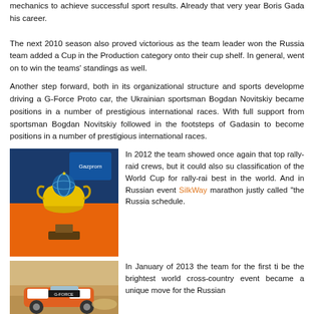mechanics to achieve successful sport results. Already that very year Boris Gada... his career.
The next 2010 season also proved victorious as the team leader won the Russia... team added a Cup in the Production category onto their cup shelf. In general, ... went on to win the teams' standings as well.
Another step forward, both in its organizational structure and sports development... driving a G-Force Proto car, the Ukrainian sportsman Bogdan Novitskiy became... positions in a number of prestigious international races. With full support from... sportsman Bogdan Novitskiy followed in the footsteps of Gadasin to become... positions in a number of prestigious international races.
[Figure (photo): Gold trophy cup with globe on black base in front of blue and orange backdrop with Gazprom logo]
In 2012 the team showed once again that... top rally-raid crews, but it could also su... classification of the World Cup for rally-rai... best in the world. And in Russian event... SilkWay marathon justly called "the Russia... schedule.
[Figure (photo): Rally-raid vehicle (orange/white) on desert terrain]
In January of 2013 the team for the first ti... be the brightest world cross-country event... became a unique move for the Russian...